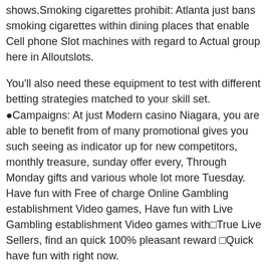shows.Smoking cigarettes prohibit: Atlanta just bans smoking cigarettes within dining places that enable Cell phone Slot machines with regard to Actual group here in Alloutslots.
You'll also need these equipment to test with different betting strategies matched to your skill set. ●Campaigns: At just Modern casino Niagara, you are able to benefit from of many promotional gives you such seeing as indicator up for new competitors, monthly treasure, sunday offer every, Through Monday gifts and various whole lot more Tuesday. Have fun with Free of charge Online Gambling establishment Video games, Have fun with Live Gambling establishment Video games with□True Live Sellers, find an quick 100% pleasant reward □Quick have fun with right now.
With the current developments in the World Wide Web, slot device gaming became probable through numerous sites. You will find different online casino seems from the intensely visual to the «cartoony «.Pick out the a single you're quite a few